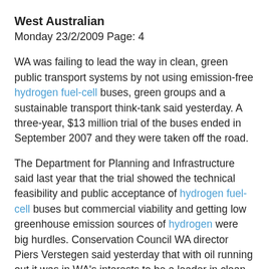West Australian
Monday 23/2/2009 Page: 4
WA was failing to lead the way in clean, green public transport systems by not using emission-free hydrogen fuel-cell buses, green groups and a sustainable transport think-tank said yesterday. A three-year, $13 million trial of the buses ended in September 2007 and they were taken off the road.
The Department for Planning and Infrastructure said last year that the trial showed the technical feasibility and public acceptance of hydrogen fuel-cell buses but commercial viability and getting low greenhouse emission sources of hydrogen were big hurdles. Conservation Council WA director Piers Verstegen said yesterday that with oil running out it was in WA's interests to be a leader in clean transport technology such as hydrogen, which could be produced from renewable energy sources such as wind and solar energy.
Sustainable Transport Coalition of WA spokesman Glen Hood said the technology, which was being used more in